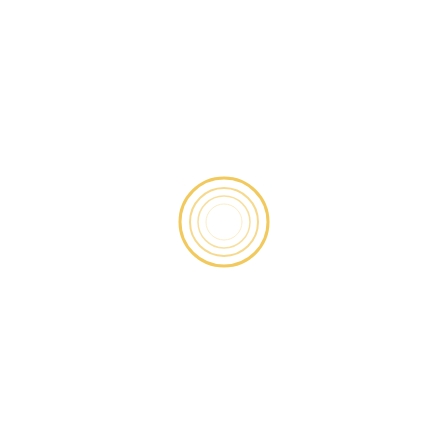[Figure (other): A mostly white/blank page with a faint watermark-like background text and a small golden/yellow concentric circles logo centered slightly right of middle on the page.]